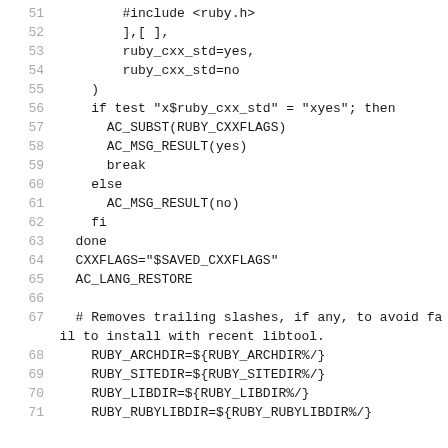Code listing lines 51-71: shell/autoconf script fragment
51    #include <ruby.h>
52    ],[ ],
53    ruby_cxx_std=yes,
54    ruby_cxx_std=no
55  )
56  if test "x$ruby_cxx_std" = "xyes"; then
57    AC_SUBST(RUBY_CXXFLAGS)
58    AC_MSG_RESULT(yes)
59    break
60  else
61    AC_MSG_RESULT(no)
62  fi
63  done
64  CXXFLAGS="$SAVED_CXXFLAGS"
65  AC_LANG_RESTORE
66
67  # Removes trailing slashes, if any, to avoid fail to install with recent libtool.
68  RUBY_ARCHDIR=${RUBY_ARCHDIR%/}
69  RUBY_SITEDIR=${RUBY_SITEDIR%/}
70  RUBY_LIBDIR=${RUBY_LIBDIR%/}
71  RUBY_RUBYLIBDIR=${RUBY_RUBYLIBDIR%/}